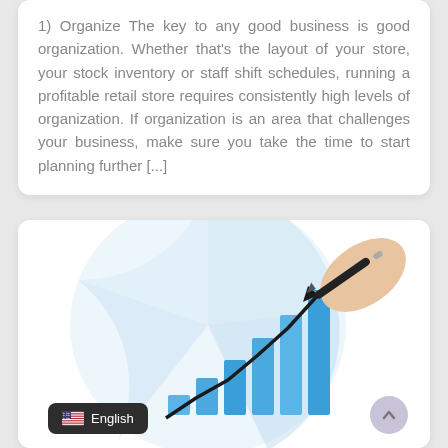1) Organize The key to any good business is good organization. Whether that's the layout of your store, your stock inventory or staff shift schedules, running a profitable retail store requires consistently high levels of organization. If organization is an area that challenges your business, make sure you take the time to start planning further [...]
[Figure (illustration): Business growth illustration: a hand writing on a rising bar chart with an upward trending arrow, overlaid on a light blue pie chart background. A language selector badge showing a US flag and 'English' text appears in the bottom left, and a scroll-up button appears in the bottom right.]